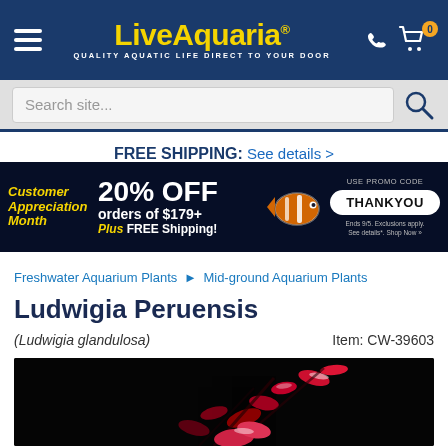LiveAquaria® QUALITY AQUATIC LIFE DIRECT TO YOUR DOOR
Search site...
FREE SHIPPING: See details >
[Figure (infographic): Customer Appreciation Month banner: 20% OFF orders of $179+ Plus FREE Shipping! Use promo code THANKYOU. Ends 9/5. Exclusions apply. See details. Shop Now. Features clownfish image on dark blue background.]
Freshwater Aquarium Plants ▶ Mid-ground Aquarium Plants
Ludwigia Peruensis
(Ludwigia glandulosa)
Item: CW-39603
[Figure (photo): Product photo of Ludwigia Peruensis aquarium plant against black background, showing red and green leafy stems]